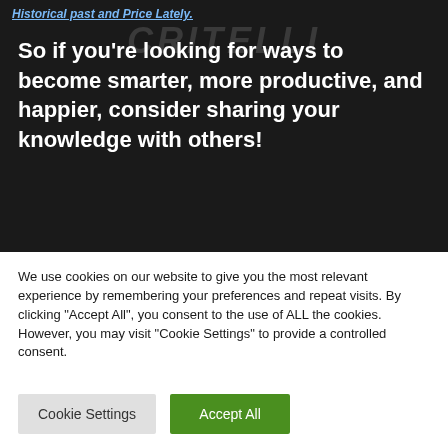Historical past and Price Lately.
So if you’re looking for ways to become smarter, more productive, and happier, consider sharing your knowledge with others!
We use cookies on our website to give you the most relevant experience by remembering your preferences and repeat visits. By clicking “Accept All”, you consent to the use of ALL the cookies. However, you may visit "Cookie Settings" to provide a controlled consent.
Cookie Settings | Accept All